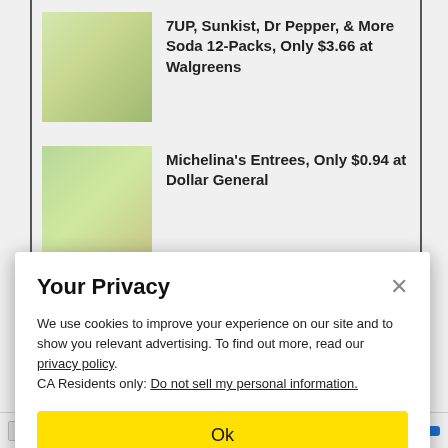7UP, Sunkist, Dr Pepper, & More Soda 12-Packs, Only $3.66 at Walgreens
Michelina's Entrees, Only $0.94 at Dollar General
BareMinerals Foundation Primer 2-Pack, Only $27.91 at Sam's Club
Your Privacy
We use cookies to improve your experience on our site and to show you relevant advertising. To find out more, read our privacy policy.
CA Residents only: Do not sell my personal information.
Ok
ave thousands on tuition